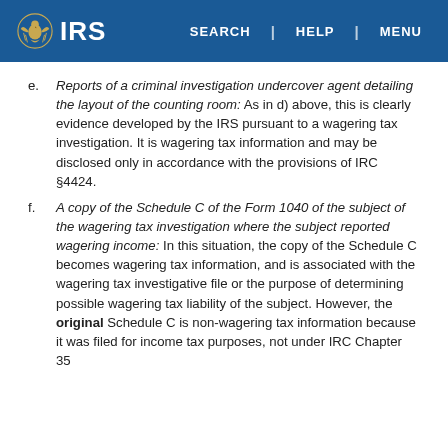IRS | SEARCH | HELP | MENU
e. Reports of a criminal investigation undercover agent detailing the layout of the counting room: As in d) above, this is clearly evidence developed by the IRS pursuant to a wagering tax investigation. It is wagering tax information and may be disclosed only in accordance with the provisions of IRC §4424.
f. A copy of the Schedule C of the Form 1040 of the subject of the wagering tax investigation where the subject reported wagering income: In this situation, the copy of the Schedule C becomes wagering tax information, and is associated with the wagering tax investigative file or the purpose of determining possible wagering tax liability of the subject. However, the original Schedule C is non-wagering tax information because it was filed for income tax purposes, not under IRC Chapter 35...